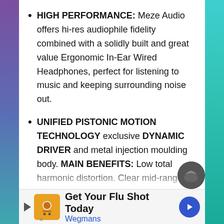HIGH PERFORMANCE: Meze Audio offers hi-res audiophile fidelity combined with a solidly built and great value Ergonomic In-Ear Wired Headphones, perfect for listening to music and keeping surrounding noise out.
UNIFIED PISTONIC MOTION TECHNOLOGY exclusive DYNAMIC DRIVER and metal injection moulding body. MAIN BENEFITS: Low total harmonic distortion. Clear mid-range. Outstanding reproduction of low frequencies. Use them with a DAC, AMP, or a DAP to improve the music listening experience.
[Figure (screenshot): Advertisement banner: Get Your Flu Shot Today - Wegmans]